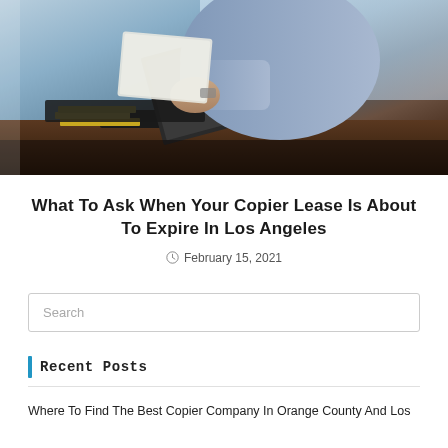[Figure (photo): Person in blue shirt sitting at a desk holding documents over a laptop, with books on the desk, wooden desk surface visible]
What To Ask When Your Copier Lease Is About To Expire In Los Angeles
February 15, 2021
Search
Recent Posts
Where To Find The Best Copier Company In Orange County And Los